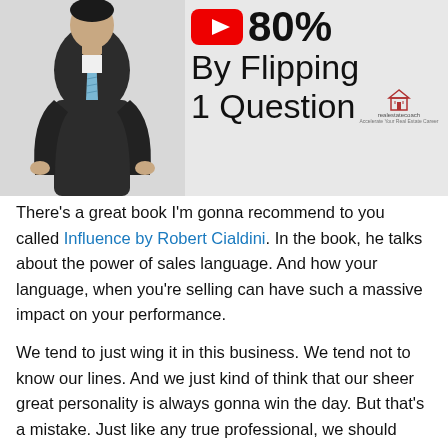[Figure (screenshot): Video thumbnail showing a man in a dark suit on the left and text overlay on the right with YouTube icon, '180% By Flipping 1 Question' and realestatecoach.com branding]
There's a great book I'm gonna recommend to you called Influence by Robert Cialdini. In the book, he talks about the power of sales language. And how your language, when you're selling can have such a massive impact on your performance.
We tend to just wing it in this business. We tend not to know our lines. And we just kind of think that our sheer great personality is always gonna win the day. But that's a mistake. Just like any true professional, we should memorize some things in